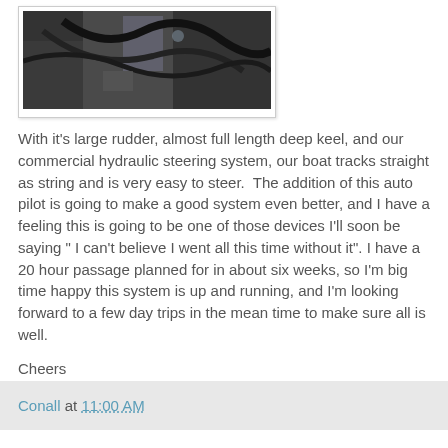[Figure (photo): Dark photograph showing mechanical/nautical equipment, partially visible figure in background]
With it's large rudder, almost full length deep keel, and our commercial hydraulic steering system, our boat tracks straight as string and is very easy to steer.  The addition of this auto pilot is going to make a good system even better, and I have a feeling this is going to be one of those devices I'll soon be saying " I can't believe I went all this time without it". I have a 20 hour passage planned for in about six weeks, so I'm big time happy this system is up and running, and I'm looking forward to a few day trips in the mean time to make sure all is well.
Cheers
Conall at 11:00 AM